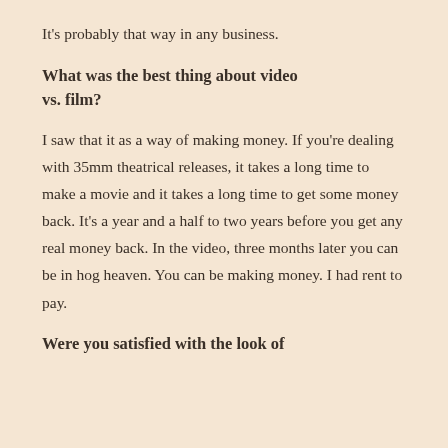It’s probably that way in any business.
What was the best thing about video vs. film?
I saw that it as a way of making money. If you’re dealing with 35mm theatrical releases, it takes a long time to make a movie and it takes a long time to get some money back. It’s a year and a half to two years before you get any real money back. In the video, three months later you can be in hog heaven. You can be making money. I had rent to pay.
Were you satisfied with the look of